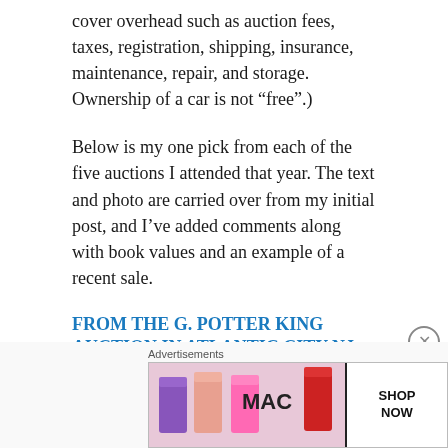cover overhead such as auction fees, taxes, registration, shipping, insurance, maintenance, repair, and storage. Ownership of a car is not “free”.)
Below is my one pick from each of the five auctions I attended that year. The text and photo are carried over from my initial post, and I’ve added comments along with book values and an example of a recent sale.
FROM THE G. POTTER KING AUCTION IN ATLANTIC CITY NJ FEB 2016:
[Figure (other): MAC Cosmetics advertisement showing lipsticks with SHOP NOW button]